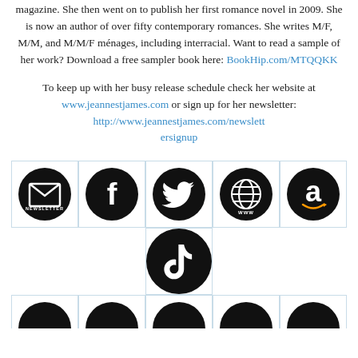magazine. She then went on to publish her first romance novel in 2009. She is now an author of over fifty contemporary romances. She writes M/F, M/M, and M/M/F ménages, including interracial. Want to read a sample of her work? Download a free sampler book here: BookHip.com/MTQQKK
To keep up with her busy release schedule check her website at www.jeannestjames.com or sign up for her newsletter: http://www.jeannestjames.com/newslettersignup
[Figure (infographic): Grid of social media icons: Newsletter (envelope), Facebook, Twitter, WWW website globe, Amazon, TikTok, and partially visible bottom row icons, all black circles on white background in bordered cells.]